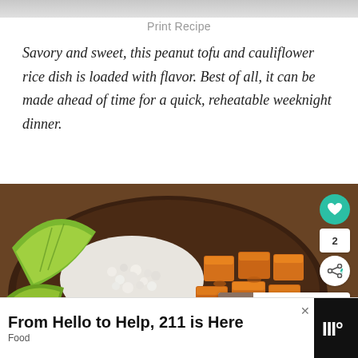[Figure (photo): Top strip showing partial food photo background]
Print Recipe
Savory and sweet, this peanut tofu and cauliflower rice dish is loaded with flavor. Best of all, it can be made ahead of time for a quick, reheatable weeknight dinner.
[Figure (photo): Photo of a wooden bowl containing cauliflower rice and glazed peanut tofu cubes, garnished with lime wedges, on a wooden surface. Overlaid UI elements include a teal heart button, share count '2', share icon, and a 'WHAT'S NEXT' banner for 'Overnight Protein Oats...']
From Hello to Help, 211 is Here
Food